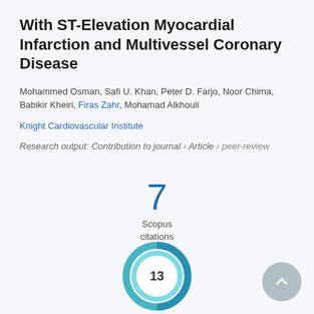With ST-Elevation Myocardial Infarction and Multivessel Coronary Disease
Mohammed Osman, Safi U. Khan, Peter D. Farjo, Noor Chima, Babikir Kheiri, Firas Zahr, Mohamad Alkhouli
Knight Cardiovascular Institute
Research output: Contribution to journal › Article › peer-review
[Figure (other): Scopus citations count showing the number 7 with label 'Scopus citations']
[Figure (donut-chart): Altmetric donut badge showing score 13]